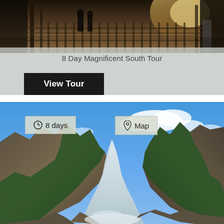[Figure (photo): Top photo card showing architectural interior with warm golden lighting, people silhouettes, and ornate details. Semi-transparent grey overlay on lower portion.]
8 Day Magnificent South Tour
View Tour
[Figure (photo): Bottom photo showing a glacier valley with snow and ice at lower center, rocky mountain slopes on sides, lush green forested hillsides, and a bright blue sky with scattered white clouds above.]
8 days
Map